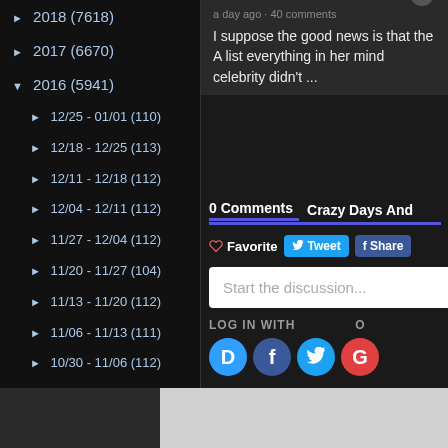► 2018 (7618)
► 2017 (6670)
▼ 2016 (5941)
► 12/25 - 01/01 (110)
► 12/18 - 12/25 (113)
► 12/11 - 12/18 (112)
► 12/04 - 12/11 (112)
► 11/27 - 12/04 (112)
► 11/20 - 11/27 (104)
► 11/13 - 11/20 (112)
► 11/06 - 11/13 (111)
► 10/30 - 11/06 (112)
► 10/23 - 10/30 (112)
► 10/16 - 10/23 (111)
► 10/09 - 10/16 (112)
► 10/...
► 09/...
a day ago · 40 comments
I suppose the good news is that the A list everything in her mind celebrity didn't ...
0 Comments   Crazy Days And
♡ Favorite
🐦 Tweet
f Share
Start the discussion...
LOG IN WITH
D  f  🐦  G